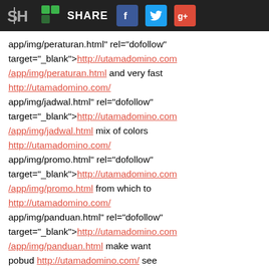SH SHARE [Facebook] [Twitter] [Google+]
app/img/peraturan.html" rel="dofollow" target="_blank">http://utamadomino.com/app/img/peraturan.html and very fast http://utamadomino.com/ app/img/jadwal.html" rel="dofollow" target="_blank">http://utamadomino.com/app/img/jadwal.html mix of colors http://utamadomino.com/ app/img/promo.html" rel="dofollow" target="_blank">http://utamadomino.com/app/img/promo.html from which to http://utamadomino.com/ app/img/panduan.html" rel="dofollow" target="_blank">http://utamadomino.com/app/img/panduan.html make want pobud http://utamadomino.com/ see